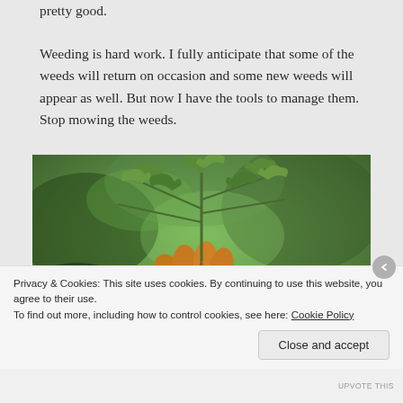pretty good.
Weeding is hard work. I fully anticipate that some of the weeds will return on occasion and some new weeds will appear as well. But now I have the tools to manage them. Stop mowing the weeds.
[Figure (photo): A gloved hand wearing an orange/yellow gardening glove holding a pulled weed plant with jagged green leaves, against a blurred green garden background.]
Privacy & Cookies: This site uses cookies. By continuing to use this website, you agree to their use.
To find out more, including how to control cookies, see here: Cookie Policy
Close and accept